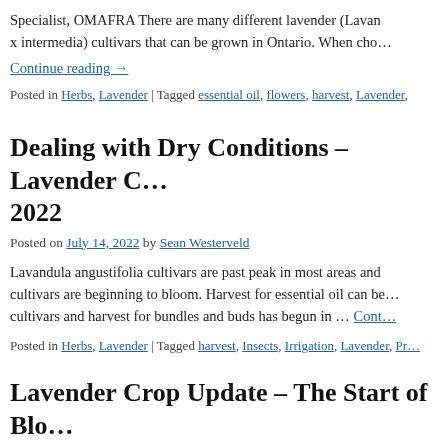Specialist, OMAFRA There are many different lavender (Lavandula x intermedia) cultivars that can be grown in Ontario. When cho…
Continue reading →
Posted in Herbs, Lavender | Tagged essential oil, flowers, harvest, Lavender,
Dealing with Dry Conditions – Lavender C… 2022
Posted on July 14, 2022 by Sean Westerveld
Lavandula angustifolia cultivars are past peak in most areas and cultivars are beginning to bloom. Harvest for essential oil can be… cultivars and harvest for bundles and buds has begun in … Cont…
Posted in Herbs, Lavender | Tagged harvest, Insects, Irrigation, Lavender, Pr…
Lavender Crop Update – The Start of Blo…
Posted on June 23, 2022 by Sean Westerveld